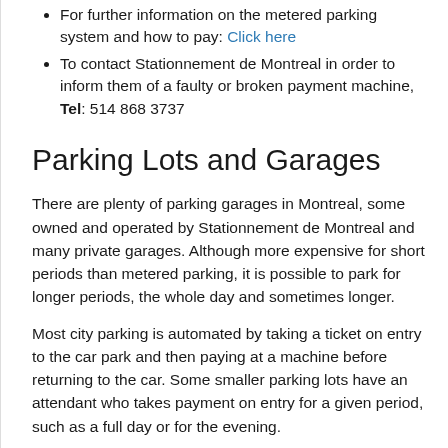For further information on the metered parking system and how to pay: Click here
To contact Stationnement de Montreal in order to inform them of a faulty or broken payment machine, Tel: 514 868 3737
Parking Lots and Garages
There are plenty of parking garages in Montreal, some owned and operated by Stationnement de Montreal and many private garages. Although more expensive for short periods than metered parking, it is possible to park for longer periods, the whole day and sometimes longer.
Most city parking is automated by taking a ticket on entry to the car park and then paying at a machine before returning to the car. Some smaller parking lots have an attendant who takes payment on entry for a given period, such as a full day or for the evening.
Many office building car parks also have some public parking spaces.
Motorcycles and Scooters